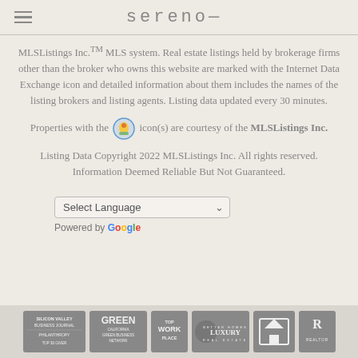sereno—
MLSListings Inc.TM MLS system. Real estate listings held by brokerage firms other than the broker who owns this website are marked with the Internet Data Exchange icon and detailed information about them includes the names of the listing brokers and listing agents. Listing data updated every 30 minutes.
Properties with the [icon] icon(s) are courtesy of the MLSListings Inc.
Listing Data Copyright 2022 MLSListings Inc. All rights reserved. Information Deemed Reliable But Not Guaranteed.
Select Language
Powered by Google
[Figure (logo): Row of partner/award badges: Silicon Valley Business Journal Philanthropy Top 30 Giver, Green California Green Business Network, Top Work Place, Luxury Real Estate, Equal Housing logo, Realtor logo]